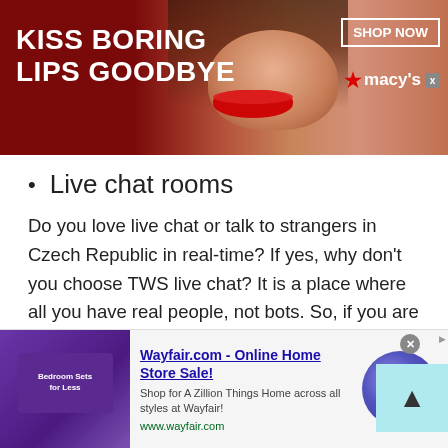[Figure (screenshot): Top advertising banner for Macy's with dark red background, woman's face with red lips, text 'KISS BORING LIPS GOODBYE', 'SHOP NOW' button with border, and Macy's star logo]
Live chat rooms
Do you love live chat or talk to strangers in Czech Republic in real-time? If yes, why don't you choose TWS live chat? It is a place where all you have real people, not bots. So, if you are wondering whether to rely on live chat or not then stop thinking like that. Talkwithstranger app enables users to avail free online chat with 100% authenticity and reliability.
[Figure (screenshot): Bottom advertisement for Wayfair.com - Online Home Store Sale! with purple bedroom furniture image, text 'Shop for A Zillion Things Home across all styles at Wayfair!' and URL www.wayfair.com, with a blue circle arrow button]